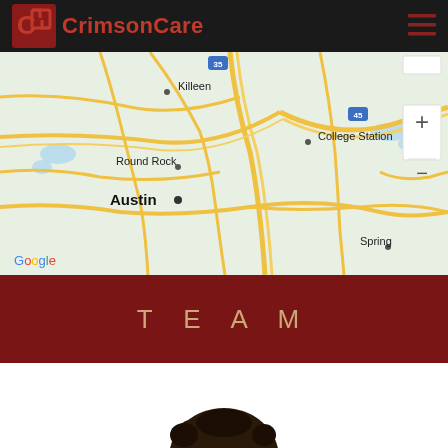CrimsonCare
[Figure (map): Google Maps view showing central Texas region including Austin, Round Rock, Killeen, College Station, and Spring. Interstate highways 35 and 45 are visible. Map includes zoom controls on the right side.]
TEAM
[Figure (photo): Partial view of a person's head (hair visible at bottom) - team member profile photo, cropped at bottom of page.]